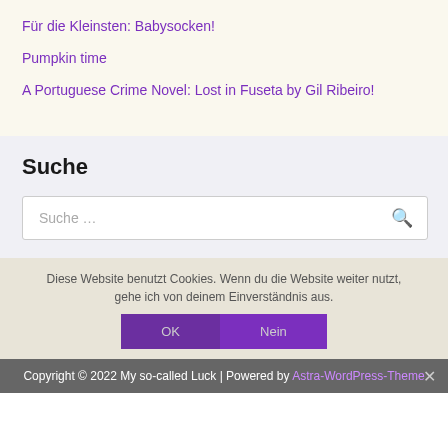Für die Kleinsten: Babysocken!
Pumpkin time
A Portuguese Crime Novel: Lost in Fuseta by Gil Ribeiro!
Suche
Suche …
Diese Website benutzt Cookies. Wenn du die Website weiter nutzt, gehe ich von deinem Einverständnis aus.
OK
Nein
Copyright © 2022 My so-called Luck | Powered by Astra-WordPress-Theme